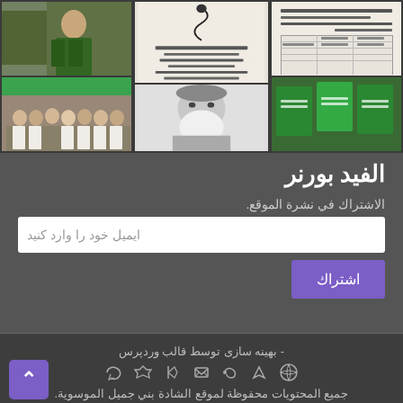[Figure (photo): Grid of photos: top-left shows a man in green robe at a banner, middle-left shows a group of men with Palestinian flags, center-top shows Arabic text document, center-bottom shows black and white portrait of elderly bearded man, right side shows green banners and Arabic documents]
الفيد بورنر
الاشتراك في نشرة الموقع.
ايميل خود را وارد كنيد
اشتراك
- بهينه سازى توسط قالب وردپرس
جميع المحتويات محفوظة لموقع الشادة بني جميل الموسوية.